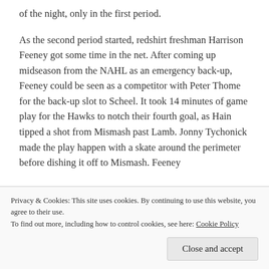of the night, only in the first period.
As the second period started, redshirt freshman Harrison Feeney got some time in the net. After coming up midseason from the NAHL as an emergency back-up, Feeney could be seen as a competitor with Peter Thome for the back-up slot to Scheel. It took 14 minutes of game play for the Hawks to notch their fourth goal, as Hain tipped a shot from Mismash past Lamb. Jonny Tychonick made the play happen with a skate around the perimeter before dishing it off to Mismash. Feeney
Privacy & Cookies: This site uses cookies. By continuing to use this website, you agree to their use.
To find out more, including how to control cookies, see here: Cookie Policy
Close and accept